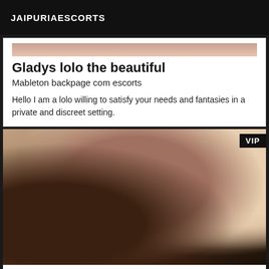JAIPURIAESCORTS
Gladys lolo the beautiful
Mableton backpage com escorts
Hello I am a lolo willing to satisfy your needs and fantasies in a private and discreet setting.
[Figure (photo): Woman posing in a bedroom with a VIP badge in the top right corner]
Very naughty escort